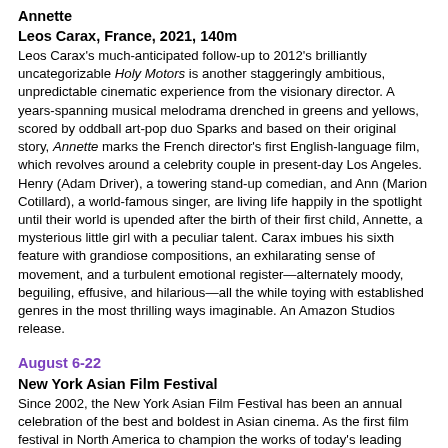Annette
Leos Carax, France, 2021, 140m
Leos Carax's much-anticipated follow-up to 2012's brilliantly uncategorizable Holy Motors is another staggeringly ambitious, unpredictable cinematic experience from the visionary director. A years-spanning musical melodrama drenched in greens and yellows, scored by oddball art-pop duo Sparks and based on their original story, Annette marks the French director's first English-language film, which revolves around a celebrity couple in present-day Los Angeles. Henry (Adam Driver), a towering stand-up comedian, and Ann (Marion Cotillard), a world-famous singer, are living life happily in the spotlight until their world is upended after the birth of their first child, Annette, a mysterious little girl with a peculiar talent. Carax imbues his sixth feature with grandiose compositions, an exhilarating sense of movement, and a turbulent emotional register—alternately moody, beguiling, effusive, and hilarious—all the while toying with established genres in the most thrilling ways imaginable. An Amazon Studios release.
August 6-22
New York Asian Film Festival
Since 2002, the New York Asian Film Festival has been an annual celebration of the best and boldest in Asian cinema. As the first film festival in North America to champion the works of today's leading Asian auteurs, NYAFF continues to introduce vibrant and vital voices in films ranging from explosive blockbusters to eccentric arthouse gems. As we celebrate Asian representation more than ever before, NYAFF provides an essential connection and awareness to our community, to New Yorkers, and beyond through screenings in Lincoln...